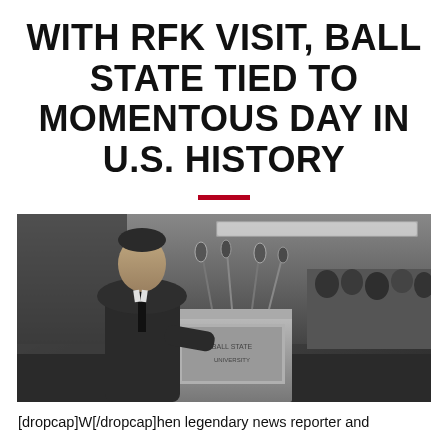WITH RFK VISIT, BALL STATE TIED TO MOMENTOUS DAY IN U.S. HISTORY
[Figure (photo): Black and white photograph of Robert F. Kennedy speaking at a podium with multiple microphones at Ball State University. He is wearing a suit and tie. Ceiling lights and a crowd are visible in the background.]
[dropcap]W[/dropcap]hen legendary news reporter and